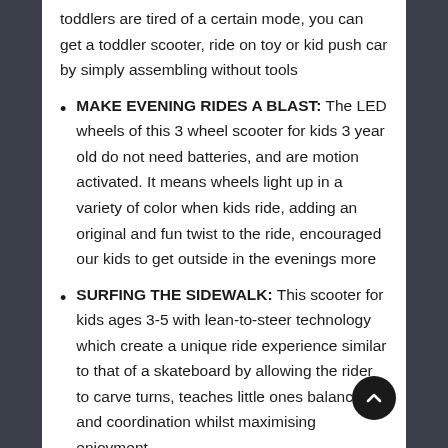toddlers are tired of a certain mode, you can get a toddler scooter, ride on toy or kid push car by simply assembling without tools
MAKE EVENING RIDES A BLAST: The LED wheels of this 3 wheel scooter for kids 3 year old do not need batteries, and are motion activated. It means wheels light up in a variety of color when kids ride, adding an original and fun twist to the ride, encouraged our kids to get outside in the evenings more
SURFING THE SIDEWALK: This scooter for kids ages 3-5 with lean-to-steer technology which create a unique ride experience similar to that of a skateboard by allowing the rider to carve turns, teaches little ones balance and coordination whilst maximising enjoyment